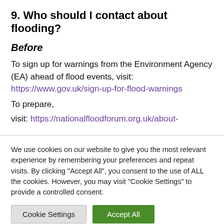9. Who should I contact about flooding?
Before
To sign up for warnings from the Environment Agency (EA) ahead of flood events, visit: https://www.gov.uk/sign-up-for-flood-warnings
To prepare, visit: https://nationalfloodforum.org.uk/about-
We use cookies on our website to give you the most relevant experience by remembering your preferences and repeat visits. By clicking "Accept All", you consent to the use of ALL the cookies. However, you may visit "Cookie Settings" to provide a controlled consent.
Cookie Settings | Accept All